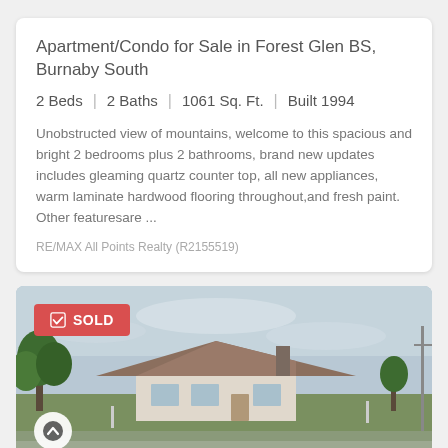Apartment/Condo for Sale in Forest Glen BS, Burnaby South
2 Beds | 2 Baths | 1061 Sq. Ft. | Built 1994
Unobstructed view of mountains, welcome to this spacious and bright 2 bedrooms plus 2 bathrooms, brand new updates includes gleaming quartz counter top, all new appliances, warm laminate hardwood flooring throughout,and fresh paint. Other featuresare ...
RE/MAX All Points Realty (R2155519)
[Figure (photo): Street-level photo of a single-storey residential house with trees in the foreground and overcast sky. A red SOLD badge is overlaid in the top-left corner, and a circular up-arrow button is in the bottom-left.]